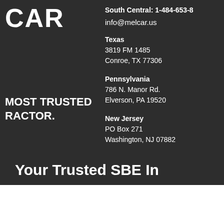[Figure (logo): MELCAR logo text in white on dark background]
South Central: 1-484-653-8...
info@melcar.us
MOST TRUSTED CONTRACTOR.
Texas
3819 FM 1485
Conroe, TX 77306
Pennsylvania
786 N. Manor Rd.
Elverson, PA 19520
New Jersey
PO Box 271
Washington, NJ 07882
Your Trusted SBE In...